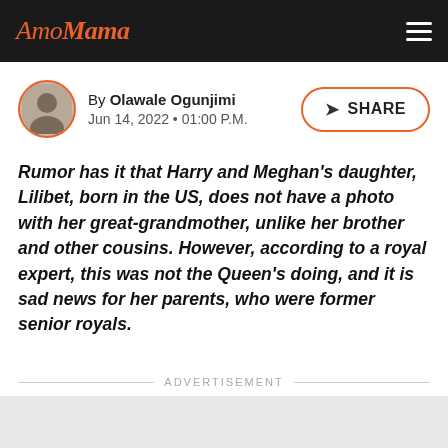AmoMama
By Olawale Ogunjimi
Jun 14, 2022 • 01:00 P.M.
Rumor has it that Harry and Meghan's daughter, Lilibet, born in the US, does not have a photo with her great-grandmother, unlike her brother and other cousins. However, according to a royal expert, this was not the Queen's doing, and it is sad news for her parents, who were former senior royals.
ADVERTISEMENT